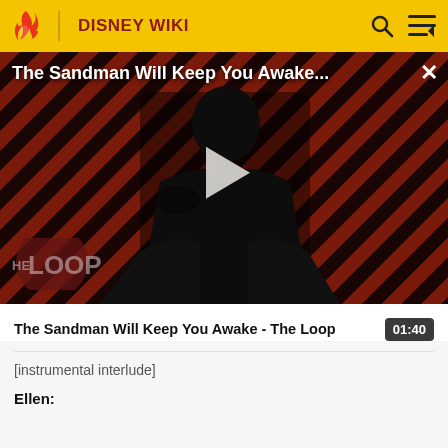DISNEY WIKI
[Figure (screenshot): Video thumbnail for 'The Sandman Will Keep You Awake - The Loop' showing a dark-clad figure against a red and black diagonal striped background with 'THE LOOP' logo overlay and a play button]
The Sandman Will Keep You Awake - The Loop   01:40
[instrumental interlude]
Ellen: